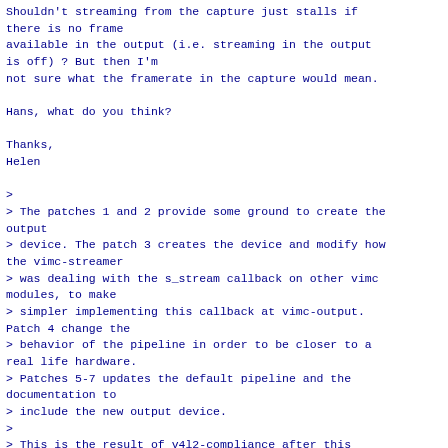Shouldn't streaming from the capture just stalls if there is no frame
available in the output (i.e. streaming in the output is off) ? But then I'm
not sure what the framerate in the capture would mean.

Hans, what do you think?

Thanks,
Helen

>
> The patches 1 and 2 provide some ground to create the output
> device. The patch 3 creates the device and modify how the vimc-streamer
> was dealing with the s_stream callback on other vimc modules, to make
> simpler implementing this callback at vimc-output. Patch 4 change the
> behavior of the pipeline in order to be closer to a real life hardware.
> Patches 5-7 updates the default pipeline and the documentation to
> include the new output device.
>
> This is the result of v4l2-compliance after this patch series:
> $ v4l2-compliance -m0 -s50
> Grand Total for vimc device /dev/media0: 476,
Succeeded: 476, Failed: 0